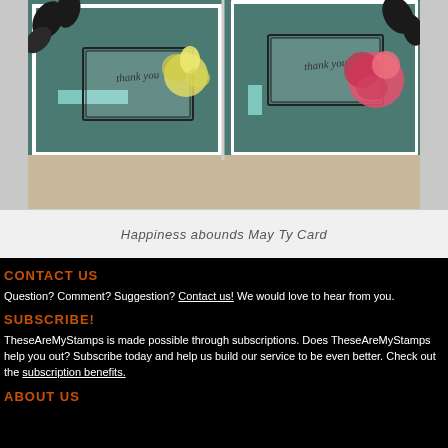[Figure (photo): Two handmade thank you cards with floral decorations (roses and leaves) on teal/dark green backgrounds, displayed on a tan surface.]
Happiness abounds May Ty Card
CONTACT US
Question? Comment? Suggestion? Contact us! We would love to hear from you.
SUBSCRIBE!
TheseAreMyStamps is made possible through subscriptions. Does TheseAreMyStamps help you out? Subscribe today and help us build our service to be even better. Check out the subscription benefits.
ABOUT US